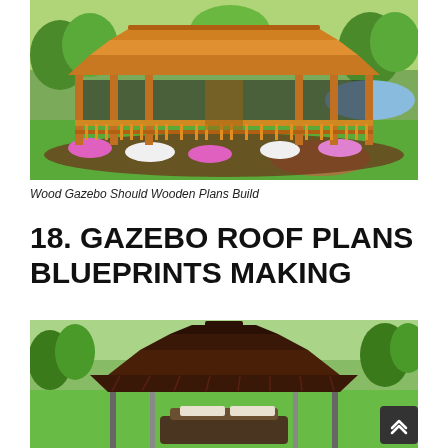[Figure (photo): Rendered image of a large wooden gazebo with screens and railings, surrounded by flower gardens on a green lawn]
Wood Gazebo Should Wooden Plans Build
18. GAZEBO ROOF PLANS BLUEPRINTS MAKING
[Figure (photo): Photo of a dark brown metal gazebo with double-tiered roof in a garden setting, with outdoor furniture visible underneath]